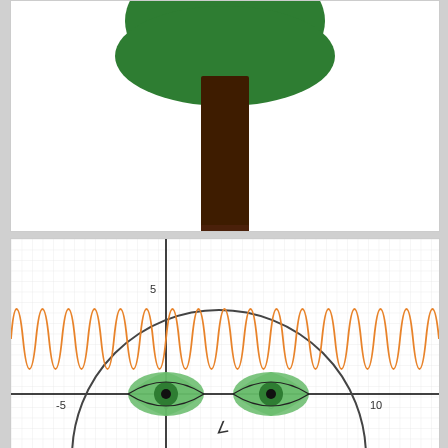[Figure (illustration): A cartoon tree with a dark green rounded canopy at the top and a dark brown rectangular trunk, on a white background. The bottom of the trunk is cut off at the bottom edge of the panel.]
[Figure (continuous-plot): A mathematical graph on a grid coordinate system. Shows a large dark gray circle centered around (2.5, 0) with radius ~7. An orange sinusoidal wave oscillates horizontally across the chart. Two green eye-shaped figures with dark pupils are drawn near the x-axis around x=0 and x=5. The x-axis shows labels -5, 0, 5, 10 and y-axis shows label 5. A small angle symbol appears near the bottom center.]